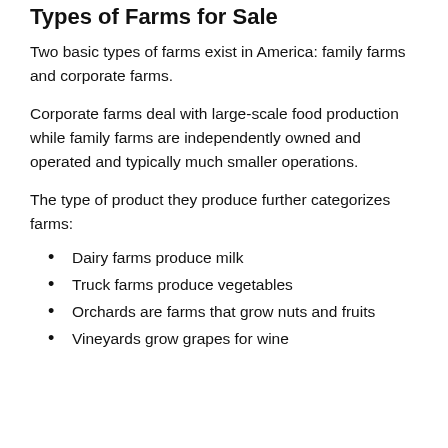Types of Farms for Sale
Two basic types of farms exist in America: family farms and corporate farms.
Corporate farms deal with large-scale food production while family farms are independently owned and operated and typically much smaller operations.
The type of product they produce further categorizes farms:
Dairy farms produce milk
Truck farms produce vegetables
Orchards are farms that grow nuts and fruits
Vineyards grow grapes for wine